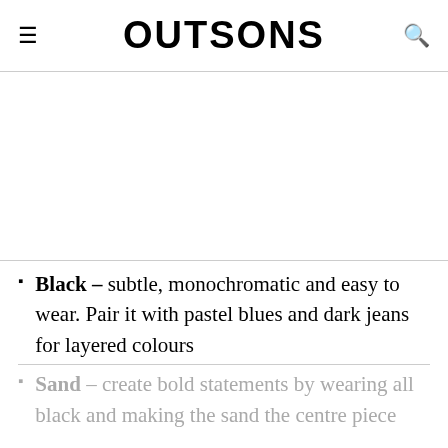OUTSONS
[Figure (photo): White/blank image placeholder area]
Black – subtle, monochromatic and easy to wear. Pair it with pastel blues and dark jeans for layered colours
Sand – create bold statements by wearing all black and making the sand the centre piece